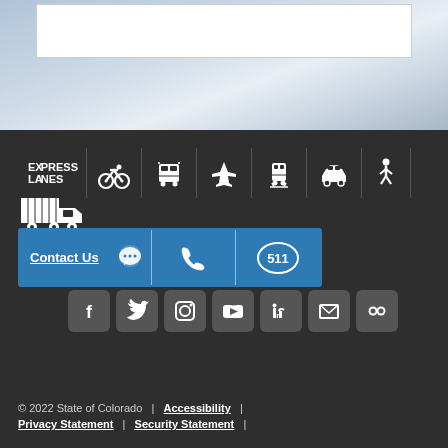[Figure (screenshot): White content box on gradient blue-grey background at top of page]
[Figure (infographic): Transportation mode icons row: Express Lanes logo, bicycle, bus, airplane, train, car, pedestrian, truck - white icons on dark background]
[Figure (infographic): Contact Us blue banner with chat icon, phone icon, and 511 badge; social media icons: Facebook, Twitter, Instagram, YouTube, LinkedIn, Email, Flickr]
© 2022 State of Colorado  |  Accessibility  |  Privacy Statement  |  Security Statement  |